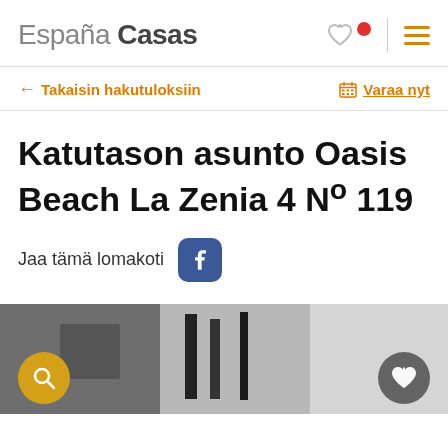España Casas
← Takaisin hakutuloksiin
Varaa nyt
Katutason asunto Oasis Beach La Zenia 4 Nº 119
Jaa tämä lomakoti
[Figure (photo): Interior room photo of the property, partially visible at bottom of page]